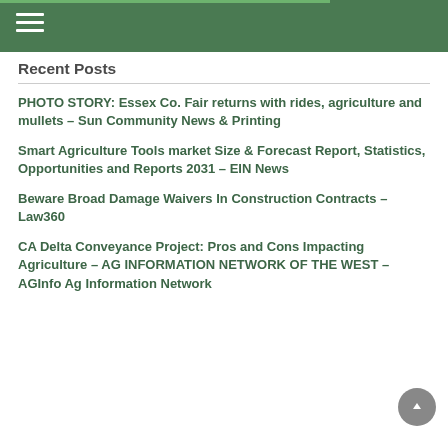Recent Posts
PHOTO STORY: Essex Co. Fair returns with rides, agriculture and mullets – Sun Community News & Printing
Smart Agriculture Tools market Size & Forecast Report, Statistics, Opportunities and Reports 2031 – EIN News
Beware Broad Damage Waivers In Construction Contracts – Law360
CA Delta Conveyance Project: Pros and Cons Impacting Agriculture – AG INFORMATION NETWORK OF THE WEST – AGInfo Ag Information Network